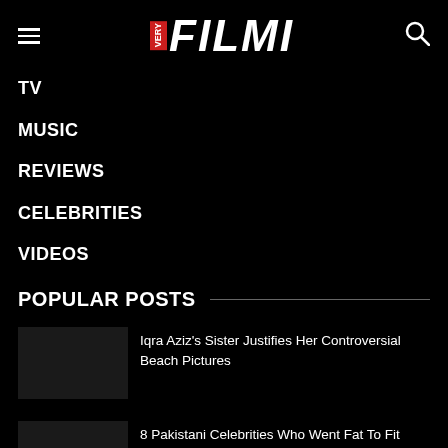VERY FILMI
TV
MUSIC
REVIEWS
CELEBRITIES
VIDEOS
POPULAR POSTS
Iqra Aziz's Sister Justifies Her Controversial Beach Pictures
8 Pakistani Celebrities Who Went Fat To Fit